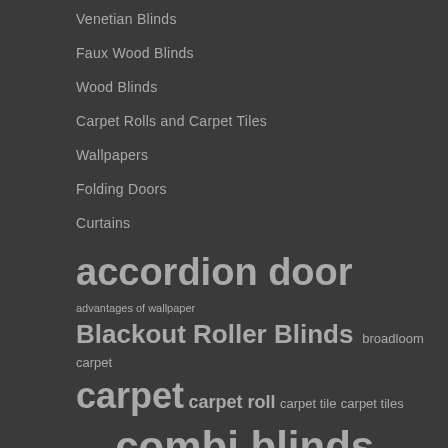Venetian Blinds
Faux Wood Blinds
Wood Blinds
Carpet Rolls and Carpet Tiles
Wallpapers
Folding Doors
Curtains
[Figure (infographic): Tag cloud with window treatment and flooring related search terms in varying font sizes indicating popularity. Terms include: accordion door (largest), advantages of wallpaper, Blackout Roller Blinds, broadloom carpet, carpet, carpet roll, carpet tile, carpet tiles, combi, combi blinds, Combi Double Shade, Combi Double Shades, combination blinds]
accordion door advantages of wallpaper Blackout Roller Blinds broadloom carpet carpet carpet roll carpet tile carpet tiles combi combi blinds Combi Double Shade Combi Double Shades combination blinds